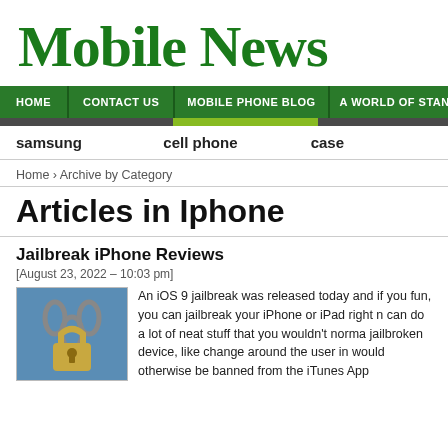[Figure (logo): Mobile News logo in dark green blackletter/gothic style font]
HOME | CONTACT US | MOBILE PHONE BLOG | A WORLD OF STANDARDS
samsung   cell phone   case
Home › Archive by Category
Articles in Iphone
Jailbreak iPhone Reviews
[August 23, 2022 – 10:03 pm]
[Figure (photo): Photo of a phone with chains and a padlock on a blue background]
An iOS 9 jailbreak was released today and if you fun, you can jailbreak your iPhone or iPad right n can do a lot of neat stuff that you wouldn't norma jailbroken device, like change around the user in would otherwise be banned from the iTunes App